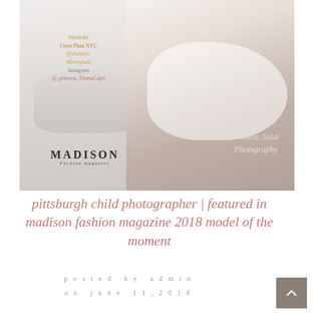[Figure (photo): A child in a white tulle dress sitting on a white rocking horse. Overlaid text includes wardrobe credit 'I love Plum NYC @plumnyc #iloveplum Instagram @_princess_SiennaCapri', MADISON Fashion magazine logo, and 'Pamela Salai Photography' watermark.]
pittsburgh child photographer | featured in madison fashion magazine 2018 model of the moment
posted by admin
on june 11,2018